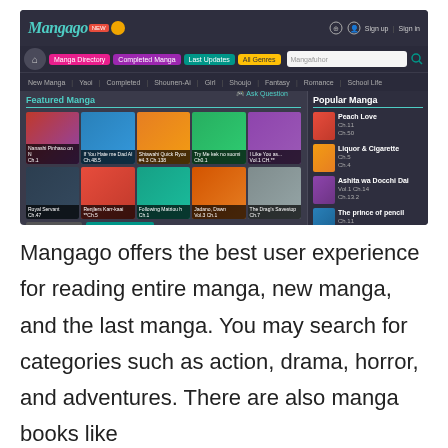[Figure (screenshot): Screenshot of the Mangago website showing the homepage with navigation bar, featured manga section with manga thumbnails, and popular manga sidebar listing titles like Peach Love, Liquor & Cigarette, Ashita wa Docchi Dai, The prince of pencil, and Maka-chan wa Kare h.]
Mangago offers the best user experience for reading entire manga, new manga, and the last manga. You may search for categories such as action, drama, horror, and adventures. There are also manga books like